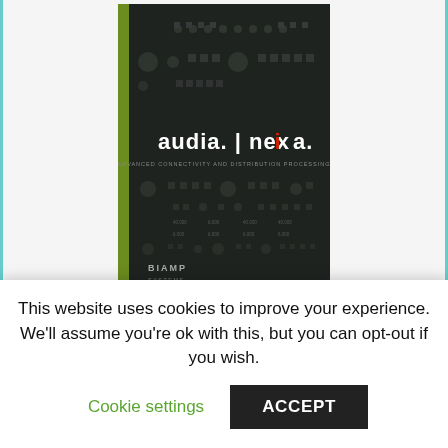[Figure (illustration): Book cover for 'audia. | nexia.' by Biamp Systems. Dark background with green spine, text 'audia. | nexia.' in white and red, with dotted pattern decorations.]
Hanwha Techwin Samsung Techwin, Belar
This website uses cookies to improve your experience. We'll assume you're ok with this, but you can opt-out if you wish.
Cookie settings
ACCEPT